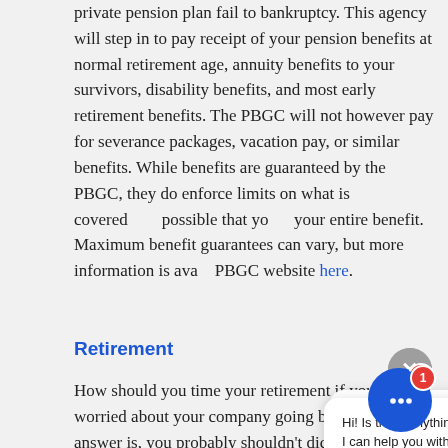private pension plan fail to bankruptcy. This agency will step in to pay receipt of your pension benefits at normal retirement age, annuity benefits to your survivors, disability benefits, and most early retirement benefits. The PBGC will not however pay for severance packages, vacation pay, or similar benefits. While benefits are guaranteed by the PBGC, they do enforce limits on what is covered possible that yo your entire benefit. Maximum benefit guarantees can vary, but more information is ava PBGC website here.
[Figure (screenshot): Chat widget overlay showing a popup with message 'Hi! Is there anything I can help you with?' and two buttons: 'Yes, please' and 'Not right now, thanks'. A close (X) button in gray circle top right. A blue chat bubble icon with notification badge showing '1' in bottom right.]
Retirement
How should you time your retirement if you are worried about your company going bankrupt? short answer is, you probably shouldn't dictate